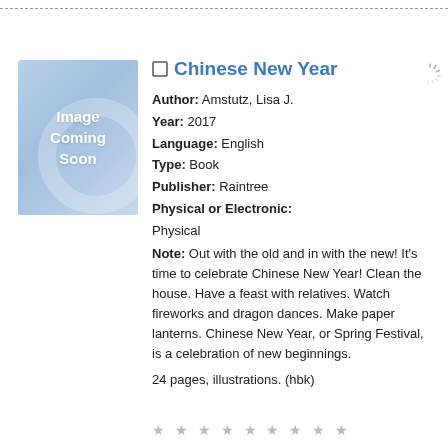[Figure (illustration): Book cover placeholder showing 'Image Coming Soon' text on a blue gradient background with faint circle watermark]
Chinese New Year
Author: Amstutz, Lisa J.
Year: 2017
Language: English
Type: Book
Publisher: Raintree
Physical or Electronic: Physical
Note: Out with the old and in with the new! It's time to celebrate Chinese New Year! Clean the house. Have a feast with relatives. Watch fireworks and dragon dances. Make paper lanterns. Chinese New Year, or Spring Festival, is a celebration of new beginnings.
24 pages, illustrations. (hbk)
★ ★ ★ ★ ★ ★ ★ ★ ★